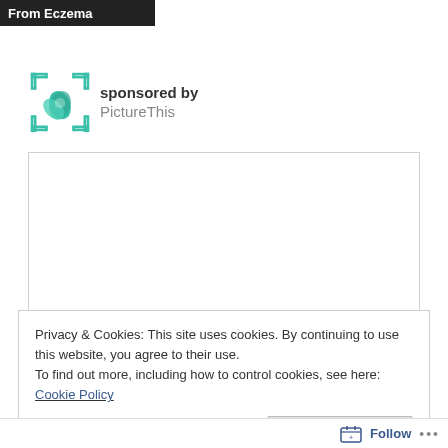From Eczema
sponsored by
PictureThis
[Figure (other): Advertisement placeholder box with white background and light border]
Privacy & Cookies: This site uses cookies. By continuing to use this website, you agree to their use.
To find out more, including how to control cookies, see here: Cookie Policy
Close and accept
Follow ...